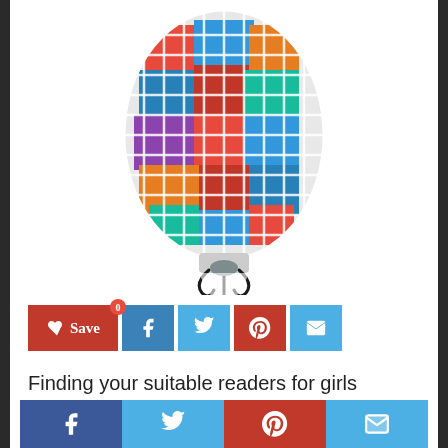[Figure (photo): A mesh/net laundry bag filled with colorful items (red, blue, orange, teal colors), tied at the bottom with a black drawstring cord, on white background.]
[Figure (infographic): Social sharing buttons: Save (red with heart icon, badge '0'), Facebook (blue), Twitter (light blue), Pinterest (red), Email (light blue)]
Finding your suitable readers for girls laundry basketball hoop is not easy. You may need consider between hundred or thousand
[Figure (infographic): Bottom social sharing bar with Facebook, Twitter, Pinterest, and Email icons]